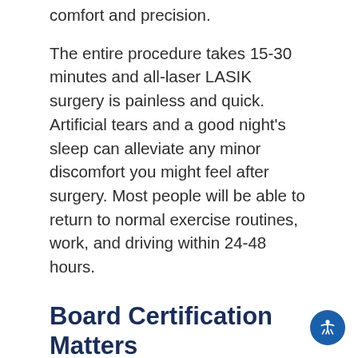comfort and precision.
The entire procedure takes 15-30 minutes and all-laser LASIK surgery is painless and quick. Artificial tears and a good night's sleep can alleviate any minor discomfort you might feel after surgery. Most people will be able to return to normal exercise routines, work, and driving within 24-48 hours.
Board Certification Matters
Although technology is important, your surgeon's experience and skills as well as your suitability as a LASIK candidate will